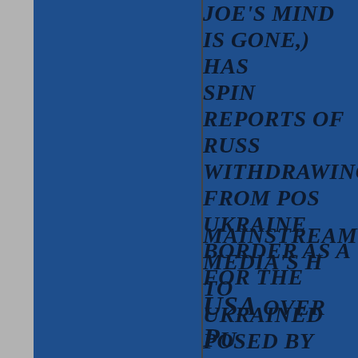Joe's mind is gone,) has spin reports of Russia withdrawing from positions Ukraine border as a win for the USA over Putin — geopolitical game that are what they seem to be
Mainstream media's hype to Ukrained posed by aggression is the latest of attempts to lay blame foreign policy disaster Russia. In fact had Joe started to babble ab